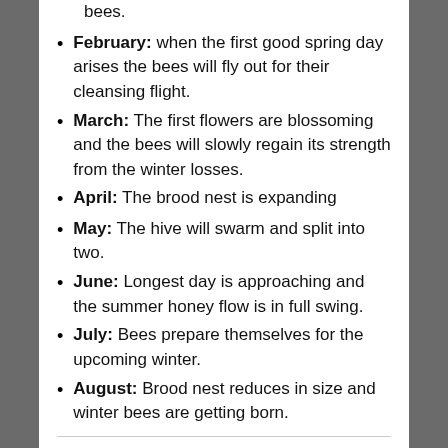bees.
February: when the first good spring day arises the bees will fly out for their cleansing flight.
March: The first flowers are blossoming and the bees will slowly regain its strength from the winter losses.
April: The brood nest is expanding
May: The hive will swarm and split into two.
June: Longest day is approaching and the summer honey flow is in full swing.
July: Bees prepare themselves for the upcoming winter.
August: Brood nest reduces in size and winter bees are getting born.